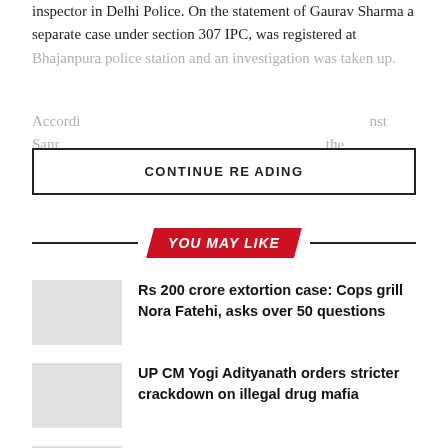inspector in Delhi Police. On the statement of Gaurav Sharma a separate case under section 307 IPC, was registered at Bhajanpura police station and an investigation was taken up.
CONTINUE READING
YOU MAY LIKE
Rs 200 crore extortion case: Cops grill Nora Fatehi, asks over 50 questions
UP CM Yogi Adityanath orders stricter crackdown on illegal drug mafia
Old liquor policy returns in Delhi: 'Trying times' for Tipplers as rebates & offers vanish